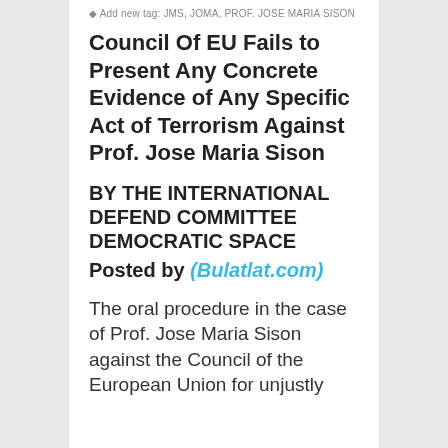Add new tag: JMS, JOMA, PROF. JOSE MARIA SISON
Council Of EU Fails to Present Any Concrete Evidence of Any Specific Act of Terrorism Against Prof. Jose Maria Sison
BY THE INTERNATIONAL DEFEND COMMITTEE DEMOCRATIC SPACE
Posted by (Bulatlat.com)
The oral procedure in the case of Prof. Jose Maria Sison against the Council of the European Union for unjustly